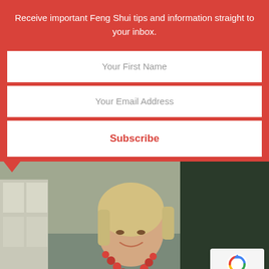Receive important Feng Shui tips and information straight to your inbox.
Your First Name
Your Email Address
Subscribe
[Figure (photo): Smiling blonde woman wearing a red top and red beaded necklace, photographed outdoors in front of a building.]
Privacy · Terms